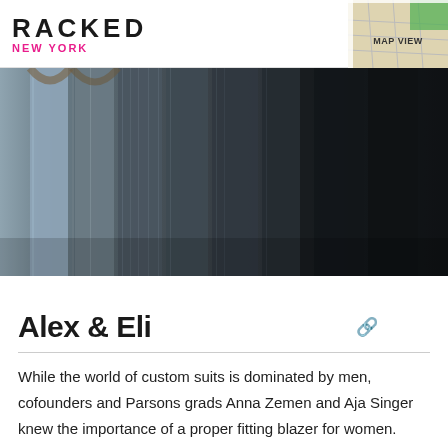RACKED NEW YORK | MAP VIEW
[Figure (photo): A row of dark and grey suits hanging on a rack, tightly packed together, photographed close up. Colors range from light blue-grey on the left to near-black on the right.]
Alex & Eli
While the world of custom suits is dominated by men, cofounders and Parsons grads Anna Zemen and Aja Singer knew the importance of a proper fitting blazer for women. Choose